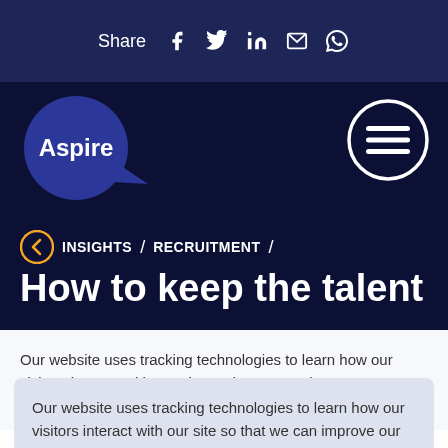Share [social icons: Facebook, Twitter, LinkedIn, Email, WhatsApp]
[Figure (logo): Aspire logo in dark blue circle with speech bubble tail]
[Figure (illustration): Hamburger menu icon inside white circle outline]
INSIGHTS / RECRUITMENT /
How to keep the talent
Our website uses tracking technologies to learn how our visitors interact with our site so that we can improve our services and provide you with valuable content. Disable Tracking.
OK   Got it!